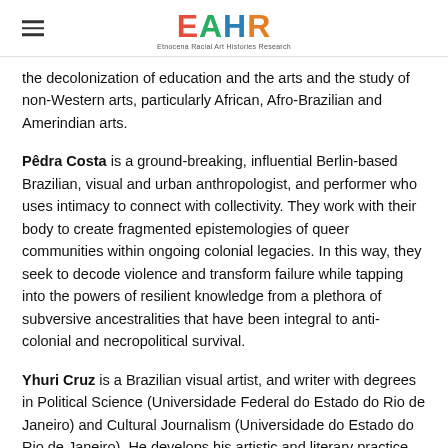EAHR — Etnocena Racial Art Histories Research
the decolonization of education and the arts and the study of non-Western arts, particularly African, Afro-Brazilian and Amerindian arts.
Pêdra Costa is a ground-breaking, influential Berlin-based Brazilian, visual and urban anthropologist, and performer who uses intimacy to connect with collectivity. They work with their body to create fragmented epistemologies of queer communities within ongoing colonial legacies. In this way, they seek to decode violence and transform failure while tapping into the powers of resilient knowledge from a plethora of subversive ancestralities that have been integral to anti-colonial and necropolitical survival.
Yhuri Cruz is a Brazilian visual artist, and writer with degrees in Political Science (Universidade Federal do Estado do Rio de Janeiro) and Cultural Journalism (Universidade do Estado do Rio de Janeiro). He develops his artistic and literary practice based on textual creations involving visionary fictions, performative propositions which the artist calls recursive bio-installations, in dialogue with…